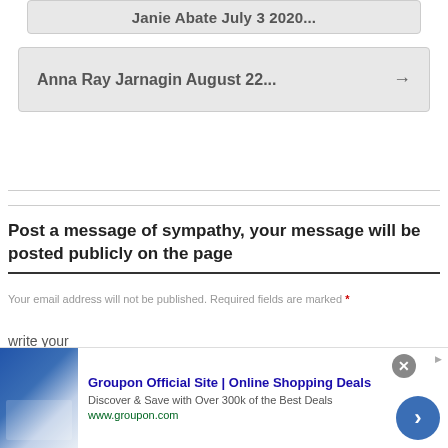Jamie Abate July 3 2020...
Anna Ray Jarnagin August 22... →
Post a message of sympathy, your message will be posted publicly on the page
Your email address will not be published. Required fields are marked *
write your
sympathies message
[Figure (screenshot): Groupon advertisement banner showing 'Groupon Official Site | Online Shopping Deals' with 'Discover & Save with Over 300k of the Best Deals' text, www.groupon.com URL, close button, and navigation arrow]